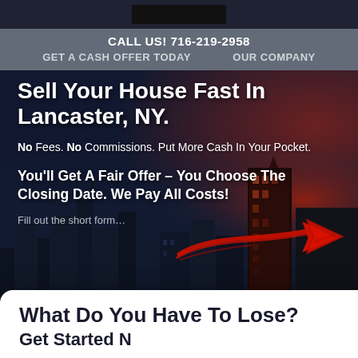CALL US! 716-219-2958  GET A CASH OFFER TODAY  OUR COMPANY
Sell Your House Fast In Lancaster, NY.
No Fees. No Commissions. Put More Cash In Your Pocket.
You'll Get A Fair Offer – You Choose The Closing Date. We Pay All Costs!
Fill out the short form…
[Figure (illustration): Red hand-drawn arrow pointing to the right, indicating to fill out a form]
What Do You Have To Lose?
Get Started Now